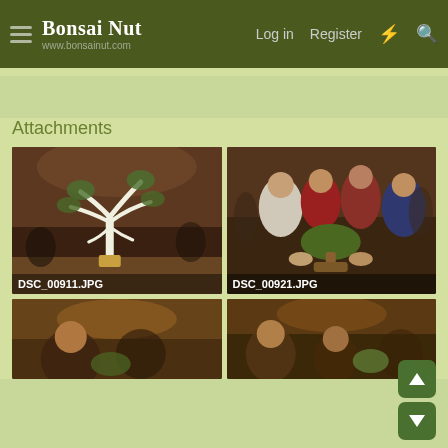Bonsai Nut | www.bonsainut.com | Log in | Register
Attachments
[Figure (photo): Bonsai tree with white branches displayed in a banquet hall setting. Label: DSC_00911.JPG]
[Figure (photo): Group of people holding a bonsai tree at an event. Label: DSC_00921.JPG]
[Figure (photo): Partially visible photo of a bonsai event scene, bottom left]
[Figure (photo): Partially visible photo of a bonsai event scene, bottom right]